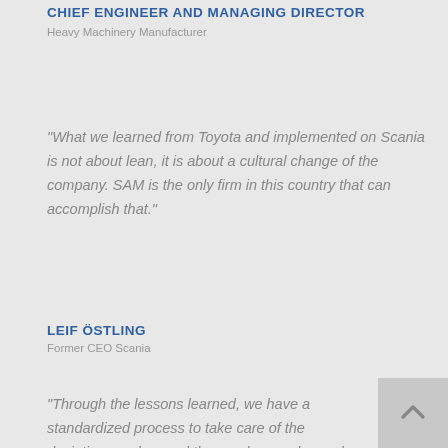CHIEF ENGINEER AND MANAGING DIRECTOR
Heavy Machinery Manufacturer
"What we learned from Toyota and implemented on Scania is not about lean, it is about a cultural change of the company. SAM is the only firm in this country that can accomplish that."
LEIF ÖSTLING
Former CEO Scania
“Through the lessons learned, we have a standardized process to take care of the deviations and spread the good examples and work methods”